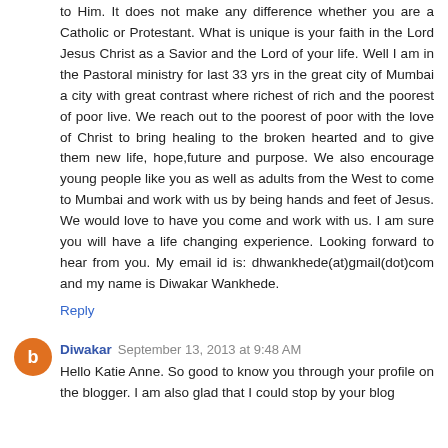to Him. It does not make any difference whether you are a Catholic or Protestant. What is unique is your faith in the Lord Jesus Christ as a Savior and the Lord of your life. Well I am in the Pastoral ministry for last 33 yrs in the great city of Mumbai a city with great contrast where richest of rich and the poorest of poor live. We reach out to the poorest of poor with the love of Christ to bring healing to the broken hearted and to give them new life, hope,future and purpose. We also encourage young people like you as well as adults from the West to come to Mumbai and work with us by being hands and feet of Jesus. We would love to have you come and work with us. I am sure you will have a life changing experience. Looking forward to hear from you. My email id is: dhwankhede(at)gmail(dot)com and my name is Diwakar Wankhede.
Reply
Diwakar  September 13, 2013 at 9:48 AM
Hello Katie Anne. So good to know you through your profile on the blogger. I am also glad that I could stop by your blog to relate to Him and by Replying through the comment as it...